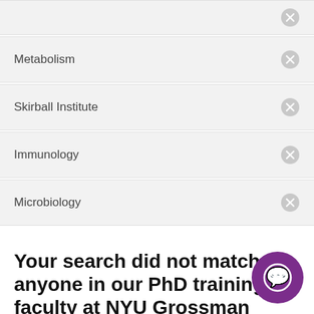Metabolism
Skirball Institute
Immunology
Microbiology
Your search did not match anyone in our PhD training faculty at NYU Grossman School of Medicine.
Please try another search term. You can also search a complete list of training faculty